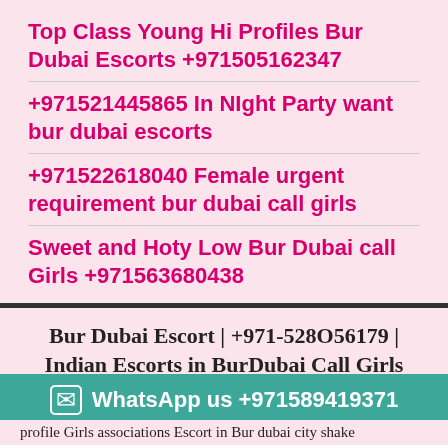Top Class Young Hi Profiles Bur Dubai Escorts +971505162347
+971521445865 In NIght Party want bur dubai escorts
+971522618040 Female urgent requirement bur dubai call girls
Sweet and Hoty Low Bur Dubai call Girls +971563680438
Bur Dubai Escort | +971-528O56179 | Indian Escorts in BurDubai Call Girls
Welcome to visit +971528056179
WhatsApp us +971589419371
profile Girls associations Escort in Bur dubai city shake